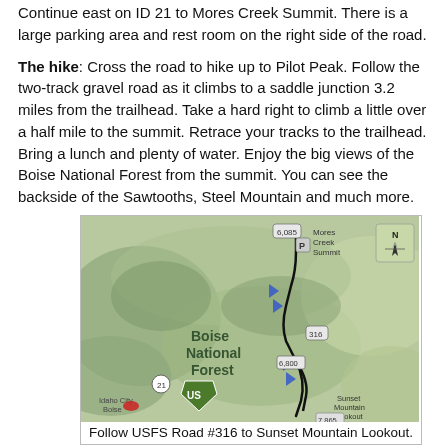Continue east on ID 21 to Mores Creek Summit. There is a large parking area and rest room on the right side of the road.
The hike: Cross the road to hike up to Pilot Peak. Follow the two-track gravel road as it climbs to a saddle junction 3.2 miles from the trailhead. Take a hard right to climb a little over a half mile to the summit. Retrace your tracks to the trailhead. Bring a lunch and plenty of water. Enjoy the big views of the Boise National Forest from the summit. You can see the backside of the Sawtooths, Steel Mountain and much more.
[Figure (map): Topographic map showing USFS Road #316 route to Sunset Mountain Lookout, passing through Boise National Forest, with Mores Creek Summit at top and blue arrow markers along the trail route.]
Follow USFS Road #316 to Sunset Mountain Lookout.